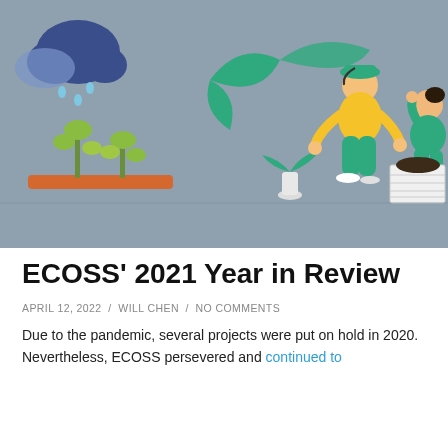[Figure (illustration): Illustrated banner showing two people gardening with plants, green leaves, a person in a yellow shirt crouching, another in green kneeling next to a crate, with a rain cloud and seedlings on the left. Gray background.]
ECOSS' 2021 Year in Review
APRIL 12, 2022  /  WILL CHEN  /  NO COMMENTS
Due to the pandemic, several projects were put on hold in 2020. Nevertheless, ECOSS persevered and continued to